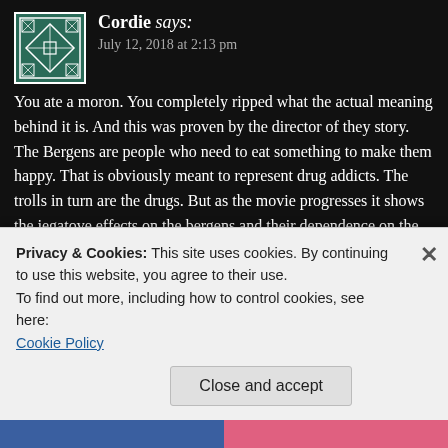Cordie says: July 12, 2018 at 2:13 pm
You ate a moron. You completely ripped what the actual meaning behind it is. And this was proven by the director of they story. The Bergens are people who need to eat something to make them happy. That is obviously meant to represent drug addicts. The trolls in turn are the drugs. But as the movie progresses it shows the jegatove effects on the bergens and their dependence on the trolls to make them happy. In the end they learn that they can be happy without drugs. Again, this meaning was proven to be correct by the person who directed the movie in a. Interview. You are a pathetic racist. You should have never had children and I truly feel sorry for their childhoods.
Privacy & Cookies: This site uses cookies. By continuing to use this website, you agree to their use.
To find out more, including how to control cookies, see here:
Cookie Policy
Close and accept